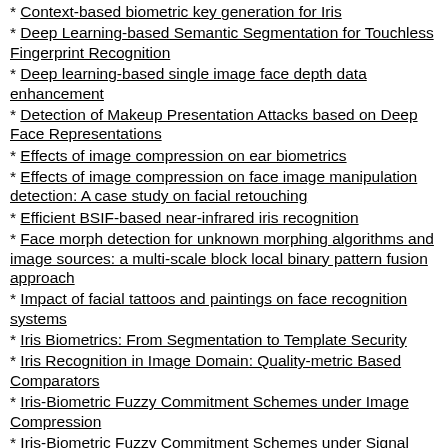Context-based biometric key generation for Iris
Deep Learning-based Semantic Segmentation for Touchless Fingerprint Recognition
Deep learning-based single image face depth data enhancement
Detection of Makeup Presentation Attacks based on Deep Face Representations
Effects of image compression on ear biometrics
Effects of image compression on face image manipulation detection: A case study on facial retouching
Efficient BSIF-based near-infrared iris recognition
Face morph detection for unknown morphing algorithms and image sources: a multi-scale block local binary pattern fusion approach
Impact of facial tattoos and paintings on face recognition systems
Iris Biometrics: From Segmentation to Template Security
Iris Recognition in Image Domain: Quality-metric Based Comparators
Iris-Biometric Fuzzy Commitment Schemes under Image Compression
Iris-Biometric Fuzzy Commitment Schemes under Signal Degradation
Iris-Biometric Hash Generation for Biometric Database Indexing